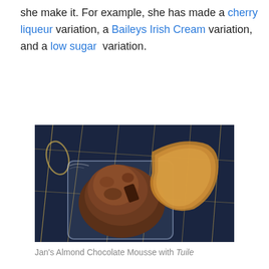she make it. For example, she has made a cherry liqueur variation, a Baileys Irish Cream variation, and a low sugar variation.
[Figure (photo): A glass square dish containing chocolate mousse with a crispy tuile wafer leaning against it, placed on a dark blue and gold patterned tablecloth.]
Jan's Almond Chocolate Mousse with Tuile